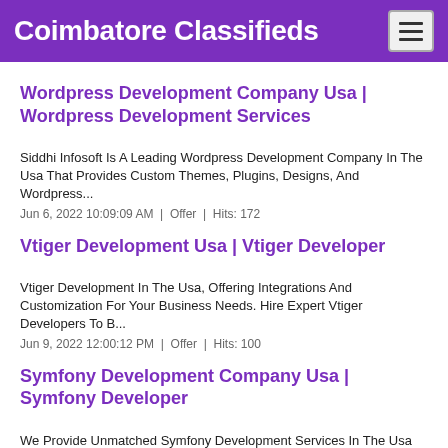Coimbatore Classifieds
Wordpress Development Company Usa | Wordpress Development Services
Siddhi Infosoft Is A Leading Wordpress Development Company In The Usa That Provides Custom Themes, Plugins, Designs, And Wordpress...
Jun 6, 2022 10:09:09 AM  |  Offer  |  Hits: 172
Vtiger Development Usa | Vtiger Developer
Vtiger Development In The Usa, Offering Integrations And Customization For Your Business Needs. Hire Expert Vtiger Developers To B...
Jun 9, 2022 12:00:12 PM  |  Offer  |  Hits: 100
Symfony Development Company Usa | Symfony Developer
We Provide Unmatched Symfony Development Services In The Usa To Fulfill Your Business Needs. Hire Symfony Developers Who Are Exper...